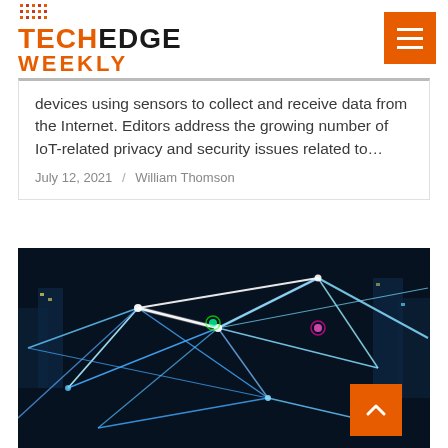TechEdge Weekly
devices using sensors to collect and receive data from the Internet. Editors address the growing number of IoT-related privacy and security issues related to…
July 12, 2021 / William Thomson
[Figure (photo): Aerial/abstract view of an IoT/network visualization with bright blue interconnected lines and nodes over a dark city background, representing internet of things connectivity.]